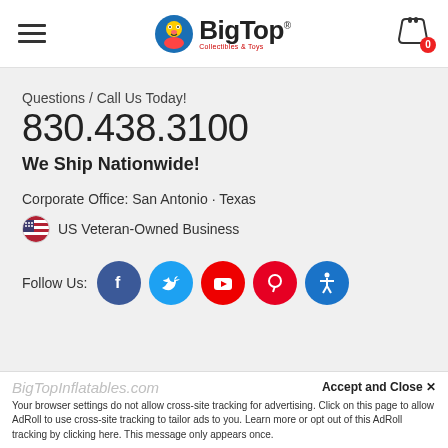BigTop Collectibles & Toys — Navigation header with logo and cart (0 items)
Questions / Call Us Today!
830.438.3100
We Ship Nationwide!
Corporate Office: San Antonio · Texas
US Veteran-Owned Business
Follow Us:
[Figure (logo): BigTop Collectibles & Toys logo with clown mascot]
BigTopInflatables.com
Accept and Close ✕
Your browser settings do not allow cross-site tracking for advertising. Click on this page to allow AdRoll to use cross-site tracking to tailor ads to you. Learn more or opt out of this AdRoll tracking by clicking here. This message only appears once.